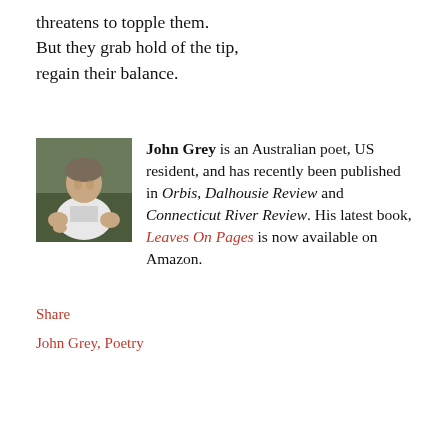threatens to topple them.
But they grab hold of the tip,
regain their balance.
[Figure (photo): Black and white photo of John Grey, an Australian poet, sitting outdoors in a white t-shirt.]
John Grey is an Australian poet, US resident, and has recently been published in Orbis, Dalhousie Review and Connecticut River Review. His latest book, Leaves On Pages is now available on Amazon.
Share
John Grey, Poetry